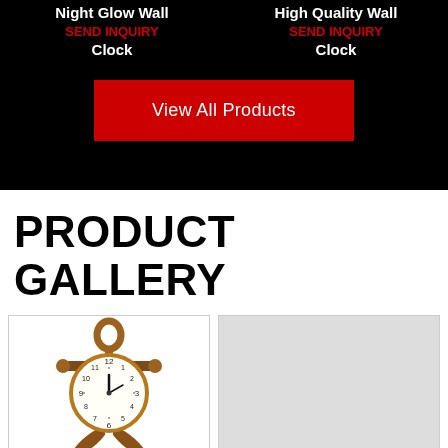Night Glow Wall Clock — SEND INQUIRY
High Quality Wall Clock — SEND INQUIRY
View All Products
PRODUCT GALLERY
[Figure (photo): Anchor-shaped decorative wall clock with wooden brown finish, showing a clock face with Arabic numerals]
[Figure (photo): Gray placeholder image for second product gallery item]